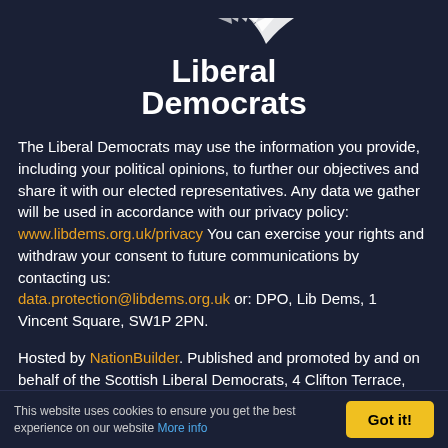[Figure (logo): Liberal Democrats logo with bird/flame emblem in white on dark background]
The Liberal Democrats may use the information you provide, including your political opinions, to further our objectives and share it with our elected representatives. Any data we gather will be used in accordance with our privacy policy: www.libdems.org.uk/privacy You can exercise your rights and withdraw your consent to future communications by contacting us: data.protection@libdems.org.uk or: DPO, Lib Dems, 1 Vincent Square, SW1P 2PN.
Hosted by NationBuilder. Published and promoted by and on behalf of the Scottish Liberal Democrats, 4 Clifton Terrace, Edinburgh, EH12 5DR
Published and promoted by Mike Dixon on behalf of the Liberal Democrats, 1 Vincent Square, London, SW1P
This website uses cookies to ensure you get the best experience on our website More info
Got it!